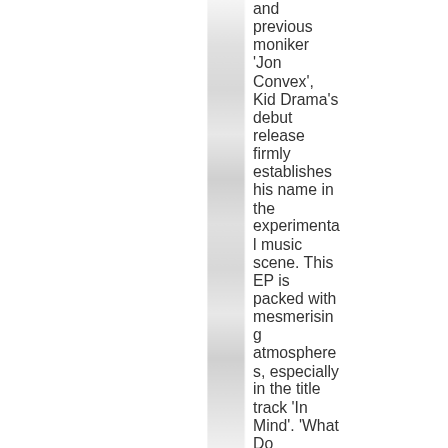and previous moniker 'Jon Convex', Kid Drama's debut release firmly establishes his name in the experimental music scene. This EP is packed with mesmerising atmospheres, especially in the title track 'In Mind'. 'What Do...